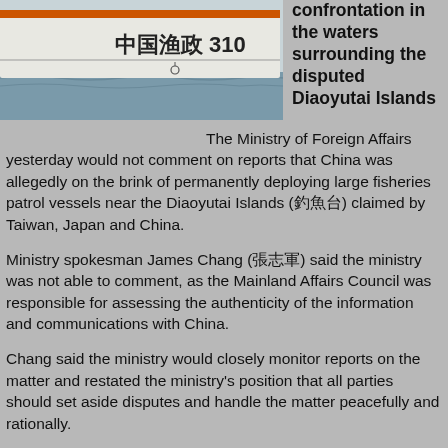[Figure (photo): A large white Chinese fisheries patrol vessel with the marking '中国渔政 310' on its hull, photographed on the water.]
confrontation in the waters surrounding the disputed Diaoyutai Islands
The Ministry of Foreign Affairs yesterday would not comment on reports that China was allegedly on the brink of permanently deploying large fisheries patrol vessels near the Diaoyutai Islands (釣魚台) claimed by Taiwan, Japan and China.
Ministry spokesman James Chang (張志軍) said the ministry was not able to comment, as the Mainland Affairs Council was responsible for assessing the authenticity of the information and communications with China.
Chang said the ministry would closely monitor reports on the matter and restated the ministry's position that all parties should set aside disputes and handle the matter peacefully and rationally.
A diplomatic official told the Taipei Times on condition of